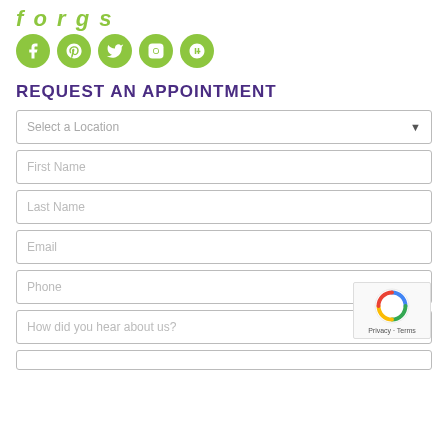[Figure (logo): Partial logo text in green italic]
[Figure (infographic): Five green circular social media icons: Facebook, Pinterest, Twitter, Instagram, Google+]
REQUEST AN APPOINTMENT
Select a Location
First Name
Last Name
Email
Phone
How did you hear about us?